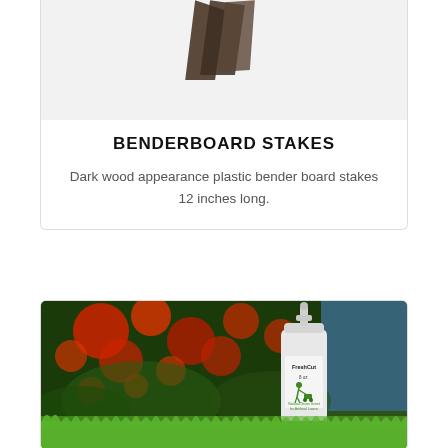[Figure (photo): Partial view of dark wood appearance plastic bender board stake on light gray background]
BENDERBOARD STAKES
Dark wood appearance plastic bender board stakes 12 inches long.
[Figure (photo): FreshCut 8 oz. spray bottle with Natural Grass Scent for Artificial Lawns label, shown against bokeh red berries and dark green foliage background, standing on green artificial grass]